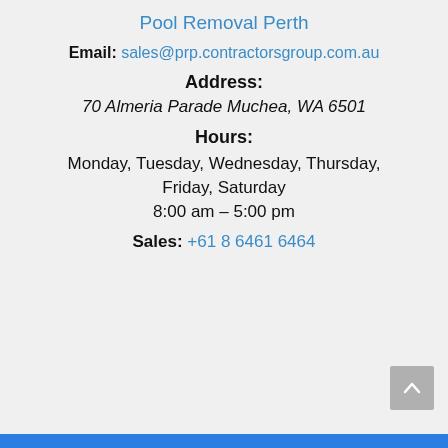Pool Removal Perth
Email: sales@prp.contractorsgroup.com.au
Address:
70 Almeria Parade Muchea, WA 6501
Hours:
Monday, Tuesday, Wednesday, Thursday, Friday, Saturday
8:00 am – 5:00 pm
Sales: +61 8 6461 6464